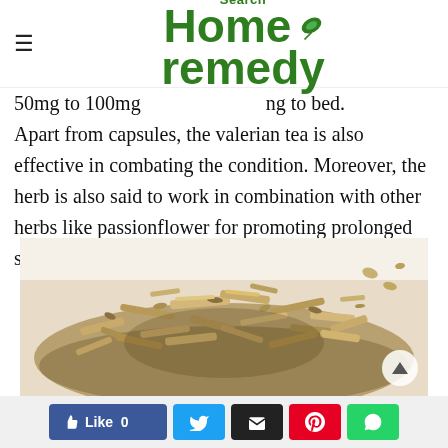Search Home remedy
50mg to 100mg ng to bed. Apart from capsules, the valerian tea is also effective in combating the condition. Moreover, the herb is also said to work in combination with other herbs like passionflower for promoting prolonged sleep.
[Figure (photo): Dried valerian root herb pile on white background]
Like 0 | Twitter | Email | Pinterest | WhatsApp